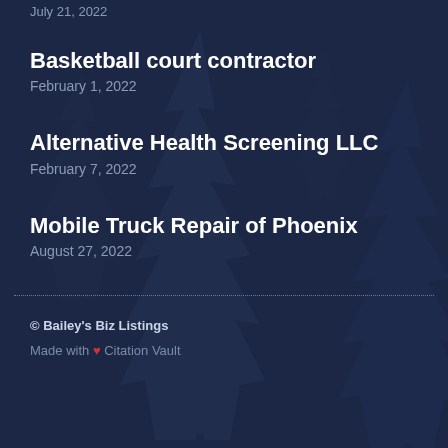July 21, 2022
Basketball court contractor
February 1, 2022
Alternative Health Screening LLC
February 7, 2022
Mobile Truck Repair of Phoenix
August 27, 2022
© Bailey's Biz Listings
Made with ❤ Citation Vault